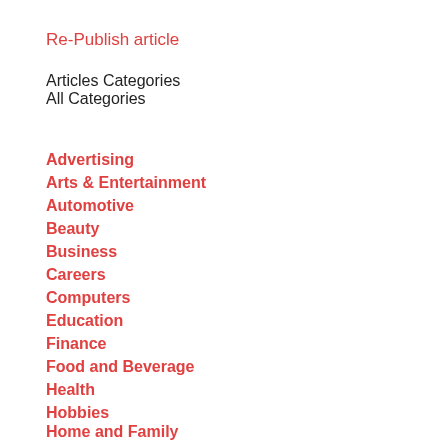Re-Publish article
Articles Categories
All Categories
Advertising
Arts & Entertainment
Automotive
Beauty
Business
Careers
Computers
Education
Finance
Food and Beverage
Health
Hobbies
Home and Family
Home Improvement